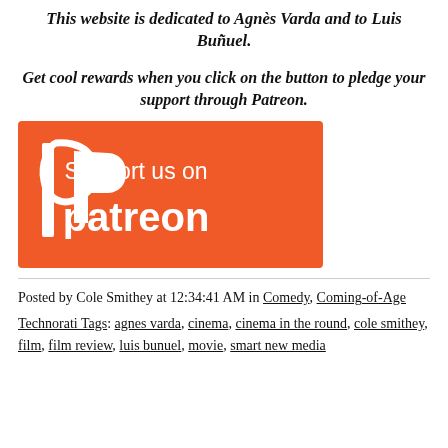This website is dedicated to Agnès Varda and to Luis Buñuel.
Get cool rewards when you click on the button to pledge your support through Patreon.
[Figure (logo): Orange Patreon button with white text 'Support us on patreon' and Patreon logo icon]
Posted by Cole Smithey at 12:34:41 AM in Comedy, Coming-of-Age
Technorati Tags: agnes varda, cinema, cinema in the round, cole smithey, film, film review, luis bunuel, movie, smart new media